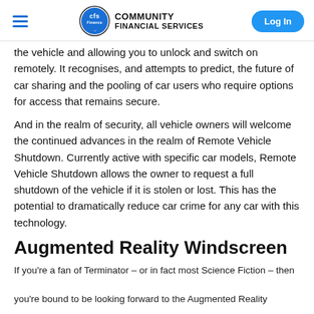Community Financial Services — Log In
the vehicle and allowing you to unlock and switch on remotely. It recognises, and attempts to predict, the future of car sharing and the pooling of car users who require options for access that remains secure.
And in the realm of security, all vehicle owners will welcome the continued advances in the realm of Remote Vehicle Shutdown. Currently active with specific car models, Remote Vehicle Shutdown allows the owner to request a full shutdown of the vehicle if it is stolen or lost. This has the potential to dramatically reduce car crime for any car with this technology.
Augmented Reality Windscreen
If you're a fan of Terminator – or in fact most Science Fiction – then
you're bound to be looking forward to the Augmented Reality